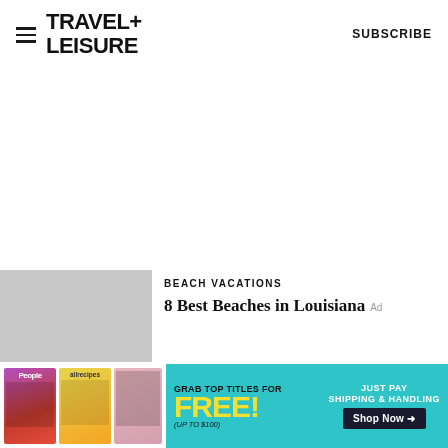TRAVEL+ LEISURE   SUBSCRIBE
[Figure (other): Large white/blank content area in the middle of the page]
[Figure (photo): Gray thumbnail image placeholder for article]
BEACH VACATIONS
8 Best Beaches in Louisiana
[Figure (other): Advertisement banner: Grab Top Titles for FREE (Up to $100) - Just Pay Shipping & Handling - Shop Now arrow button, featuring People and allrecipes magazine covers]